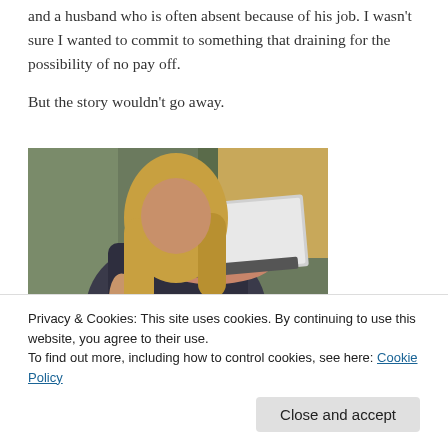and a husband who is often absent because of his job. I wasn't sure I wanted to commit to something that draining for the possibility of no pay off.
But the story wouldn't go away.
[Figure (photo): A woman with long blonde hair wearing a dark floral dress, sitting on a couch working on a laptop and writing in a notebook simultaneously.]
Privacy & Cookies: This site uses cookies. By continuing to use this website, you agree to their use.
To find out more, including how to control cookies, see here: Cookie Policy